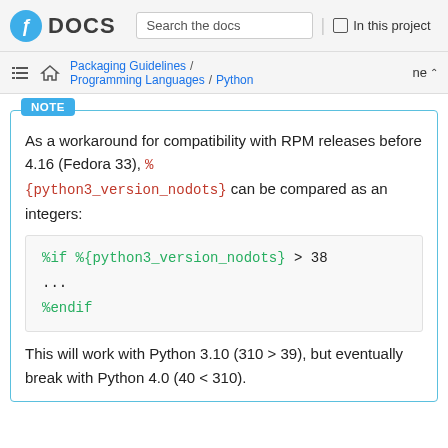DOCS | Search the docs | In this project
Packaging Guidelines / Programming Languages / Python | ne
NOTE
As a workaround for compatibility with RPM releases before 4.16 (Fedora 33), %{python3_version_nodots} can be compared as an integers:
%if %{python3_version_nodots} > 38
...
%endif
This will work with Python 3.10 (310 > 39), but eventually break with Python 4.0 (40 < 310).